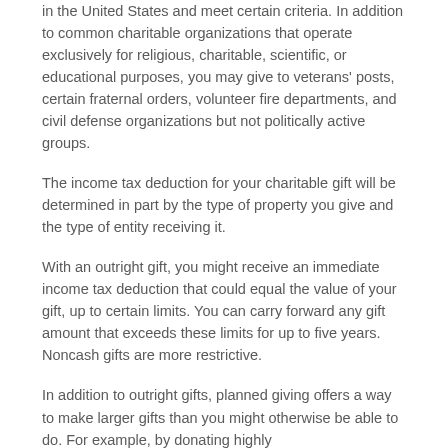in the United States and meet certain criteria. In addition to common charitable organizations that operate exclusively for religious, charitable, scientific, or educational purposes, you may give to veterans' posts, certain fraternal orders, volunteer fire departments, and civil defense organizations but not politically active groups.
The income tax deduction for your charitable gift will be determined in part by the type of property you give and the type of entity receiving it.
With an outright gift, you might receive an immediate income tax deduction that could equal the value of your gift, up to certain limits. You can carry forward any gift amount that exceeds these limits for up to five years. Noncash gifts are more restrictive.
In addition to outright gifts, planned giving offers a way to make larger gifts than you might otherwise be able to do. For example, by donating highly